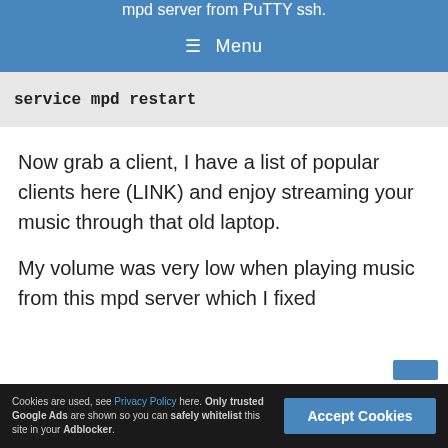mpd server from PuTTY ssh.
≡ Menu
service mpd restart
Now grab a client, I have a list of popular clients here (LINK) and enjoy streaming your music through that old laptop.
My volume was very low when playing music from this mpd server which I fixed
Cookies are used, see Privacy Policy here. Only trusted Google Ads are shown so you can safely whitelist this site in your Adblocker.
Accept Cookies